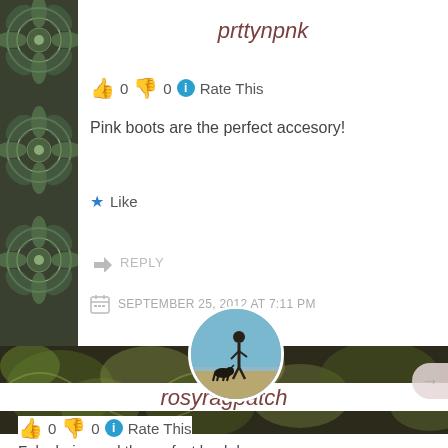prttynpnk
👍 0 👎 0 ℹ Rate This
Pink boots are the perfect accesory!
★ Like
↪ REPLY
SEPTEMBER 25, 2012 AT 7:11 PM
[Figure (photo): Circular avatar photo of a person standing on a beach with a dog, water in background, blue sky]
rosyragpatch
👍 0 👎 0 ℹ Rate This
Fab choice and the perfect backdrop...